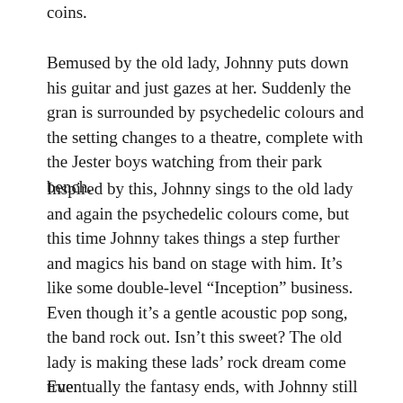coins.
Bemused by the old lady, Johnny puts down his guitar and just gazes at her. Suddenly the gran is surrounded by psychedelic colours and the setting changes to a theatre, complete with the Jester boys watching from their park bench.
Inspired by this, Johnny sings to the old lady and again the psychedelic colours come, but this time Johnny takes things a step further and magics his band on stage with him. It’s like some double-level “Inception” business. Even though it’s a gentle acoustic pop song, the band rock out. Isn’t this sweet? The old lady is making these lads’ rock dream come true.
Eventually the fantasy ends, with Johnny still playing his guitar in Mission Bay as the old lady